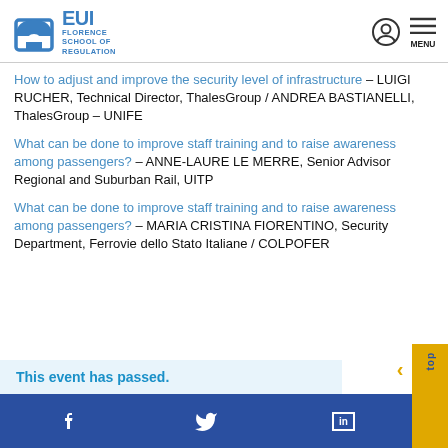EUI Florence School of Regulation
How to adjust and improve the security level of infrastructure – LUIGI RUCHER, Technical Director, ThalesGroup / ANDREA BASTIANELLI, ThalesGroup – UNIFE
What can be done to improve staff training and to raise awareness among passengers? – ANNE-LAURE LE MERRE, Senior Advisor Regional and Suburban Rail, UITP
What can be done to improve staff training and to raise awareness among passengers? – MARIA CRISTINA FIORENTINO, Security Department, Ferrovie dello Stato Italiane / COLPOFER
This event has passed.